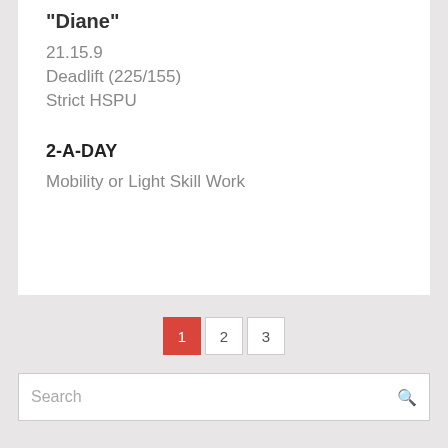“Diane”
21.15.9
Deadlift (225/155)
Strict HSPU
2-A-DAY
Mobility or Light Skill Work
1 2 3